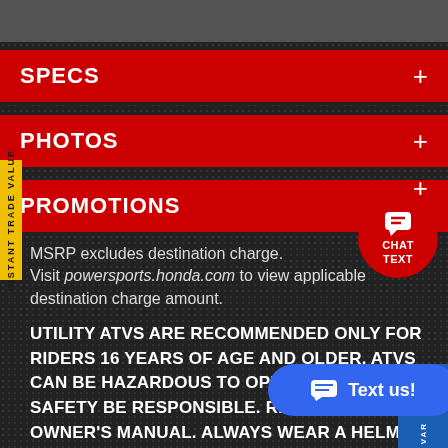SPECS
PHOTOS
PROMOTIONS
MSRP excludes destination charge. Visit powersports.honda.com to view applicable destination charge amount.
UTILITY ATVs ARE RECOMMENDED ONLY FOR RIDERS 16 YEARS OF AGE AND OLDER. ATVs CAN BE HAZARDOUS TO OPERATE. FOR YOUR SAFETY BE RESPONSIBLE. READ THE OWNER'S MANUAL. ALWAYS WEAR A HELMET, EYE PROTECTION AND PROTECTIVE CLOTHING. BE CAREFUL ON DIFFICULT T... ATV RIDERS SHOUD TAKE A TRAINING C... FOR NEW BUYERS. ASK YOUR DEALER OR CALL AS